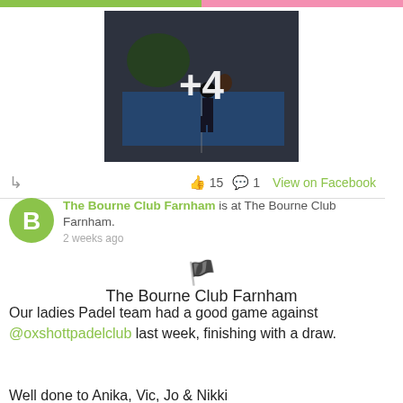[Figure (photo): Top strip with green and pink sections, and a padel/tennis court photo with '+4' overlay]
👍 15  💬 1  View on Facebook
The Bourne Club Farnham is at The Bourne Club Farnham.
2 weeks ago
The Bourne Club Farnham
Our ladies Padel team had a good game against @oxshottpadelclub last week, finishing with a draw.
Well done to Anika, Vic, Jo & Nikki